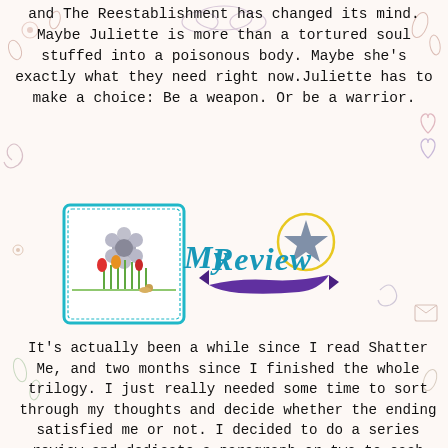and The Reestablishment has changed its mind. Maybe Juliette is more than a tortured soul stuffed into a poisonous body. Maybe she's exactly what they need right now.Juliette has to make a choice: Be a weapon. Or be a warrior.
[Figure (illustration): My Review graphic with decorative teal frame containing flowers on left, stylized 'My Review' text in blue/teal cursive with a purple ribbon banner and gray star in yellow circle on right]
It's actually been a while since I read Shatter Me, and two months since I finished the whole trilogy. I just really needed some time to sort through my thoughts and decide whether the ending satisfied me or not. I decided to do a series review and dedicate a paragraph or two to each book since, I don't think I would be able to put together full